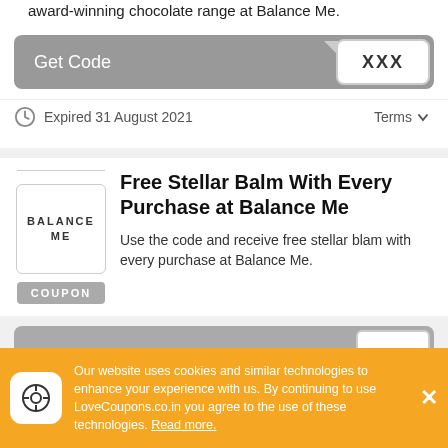award-winning chocolate range at Balance Me.
[Figure (other): Get Code button bar with code reveal showing 'XXX']
Expired 31 August 2021   Terms
[Figure (logo): Balance Me logo box with COUPON tag below]
Free Stellar Balm With Every Purchase at Balance Me
Use the code and receive free stellar blam with every purchase at Balance Me.
[Figure (other): Partial Get Code bar at bottom of second card]
Our website uses cookies and similar technologies to enhance your experience with us. By continuing to use LoveCoupons.co.in you agree to the use of these technologies. Read more.